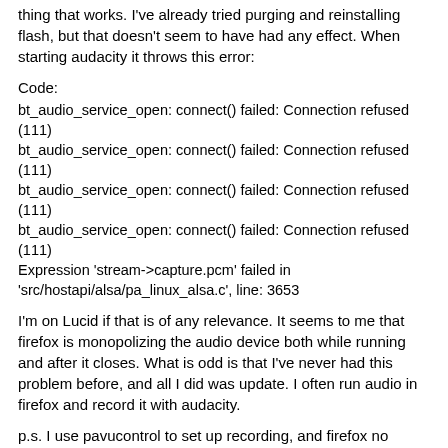thing that works. I've already tried purging and reinstalling flash, but that doesn't seem to have had any effect. When starting audacity it throws this error:
Code:
bt_audio_service_open: connect() failed: Connection refused (111)
bt_audio_service_open: connect() failed: Connection refused (111)
bt_audio_service_open: connect() failed: Connection refused (111)
bt_audio_service_open: connect() failed: Connection refused (111)
Expression 'stream->capture.pcm' failed in 'src/hostapi/alsa/pa_linux_alsa.c', line: 3653
I'm on Lucid if that is of any relevance. It seems to me that firefox is monopolizing the audio device both while running and after it closes. What is odd is that I've never had this problem before, and all I did was update. I often run audio in firefox and record it with audacity.
p.s. I use pavucontrol to set up recording, and firefox no longer shows up as a playback application when playing audio.
View 3 Replies   View Related
Ubuntu Servers :: Mdadm Breaks 8.04.4